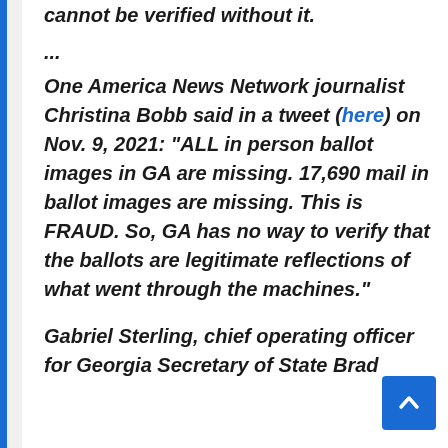cannot be verified without it.
...
One America News Network journalist Christina Bobb said in a tweet (here) on Nov. 9, 2021: “ALL in person ballot images in GA are missing. 17,690 mail in ballot images are missing. This is FRAUD. So, GA has no way to verify that the ballots are legitimate reflections of what went through the machines.”
Gabriel Sterling, chief operating officer for Georgia Secretary of State Brad